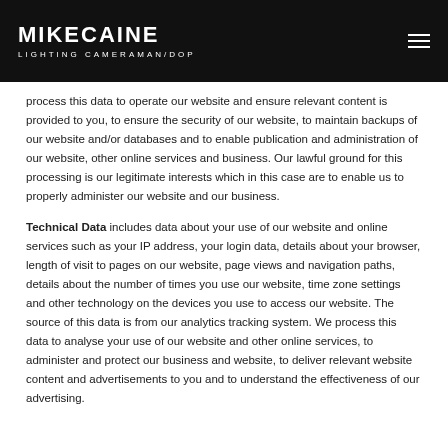MIKECAINE LIGHTING CAMERAMAN/DoP
process this data to operate our website and ensure relevant content is provided to you, to ensure the security of our website, to maintain backups of our website and/or databases and to enable publication and administration of our website, other online services and business. Our lawful ground for this processing is our legitimate interests which in this case are to enable us to properly administer our website and our business.
Technical Data includes data about your use of our website and online services such as your IP address, your login data, details about your browser, length of visit to pages on our website, page views and navigation paths, details about the number of times you use our website, time zone settings and other technology on the devices you use to access our website. The source of this data is from our analytics tracking system. We process this data to analyse your use of our website and other online services, to administer and protect our business and website, to deliver relevant website content and advertisements to you and to understand the effectiveness of our advertising.